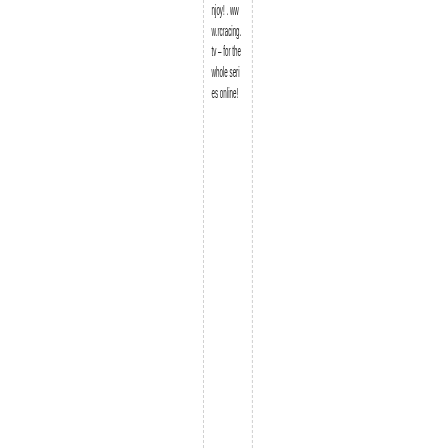njoy! . www.rcracing.tv – for the whole series online!